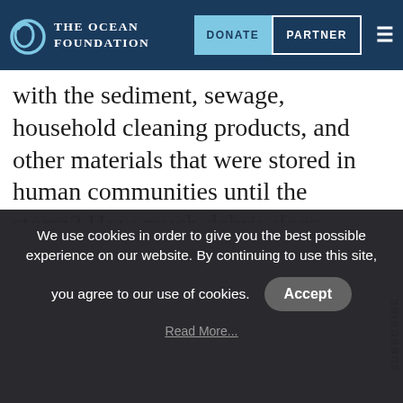The Ocean Foundation — DONATE | PARTNER
with the sediment, sewage, household cleaning products, and other materials that were stored in human communities until the storm? How much debris does ordinary rainfall carry into streams and onto beaches and in nearby waters? What happens to it? How does it affect marine life, recreational enjoyment, and the economic activities that sustain communities on the islands?
We use cookies in order to give you the best possible experience on our website. By continuing to use this site, you agree to our use of cookies.
Accept
Read More...